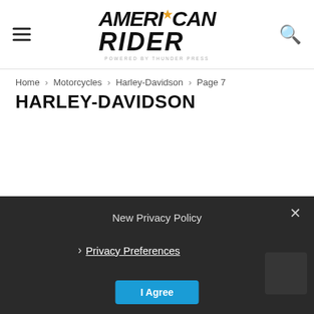American Rider — powered by Thunder Press
Home › Motorcycles › Harley-Davidson › Page 7
HARLEY-DAVIDSON
New Privacy Policy
› Privacy Preferences
I Agree